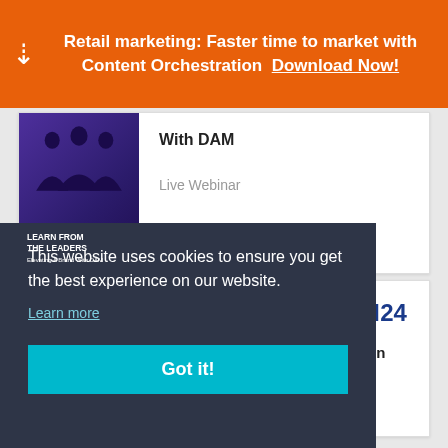Retail marketing: Faster time to market with Content Orchestration  Download Now!
With DAM
[Figure (illustration): Thumbnail image with silhouette of people, text: LEARN FROM THE LEADERS Elevating A Brand With DAM]
Live Webinar
[Figure (logo): ON24 logo on dark blue background]
1 Hour
[Figure (logo): ON24 logo in blue and white]
10 Great Virtual Events to Try in 2022
This website uses cookies to ensure you get the best experience on our website.
Learn more
Got it!